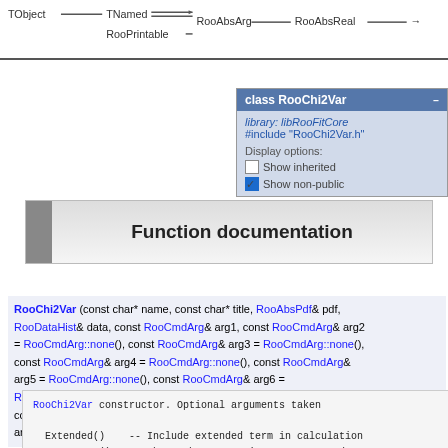[Figure (schematic): Inheritance diagram showing TObject, TNamed, RooPrintable, RooAbsArg, RooAbsReal class hierarchy with arrows]
[Figure (screenshot): Class popup for RooChi2Var showing library libRooFitCore, #include RooChi2Var.h, Display options with Show inherited and Show non-public checkboxes]
Function documentation
RooChi2Var (const char* name, const char* title, RooAbsPdf& pdf, RooDataHist& data, const RooCmdArg& arg1, const RooCmdArg& arg2 = RooCmdArg::none(), const RooCmdArg& arg3 = RooCmdArg::none(), const RooCmdArg& arg4 = RooCmdArg::none(), const RooCmdArg& arg5 = RooCmdArg::none(), const RooCmdArg& arg6 = RooCmdArg::none(), const RooCmdArg& arg7 = RooCmdArg::none(), const RooCmdArg& arg8 = RooCmdArg::none(), const RooCmdArg& arg9 = RooCmdArg::none())
RooChi2Var constructor. Optional arguments taken

Extended()    -- Include extended term in calculation
DataError()   -- Choose between Poisson errors and Sum
NumCPU()      -- Activate parallel processing feature
Range()       -- Fit only selected region
SumCoefRange() -- Set the range in which to interpret
SplitRange()  -- Fit range is split by index catory of
ConditionalObservables() -- Define projected observab
Verbose()     -- Verbose output of Chi2 framework